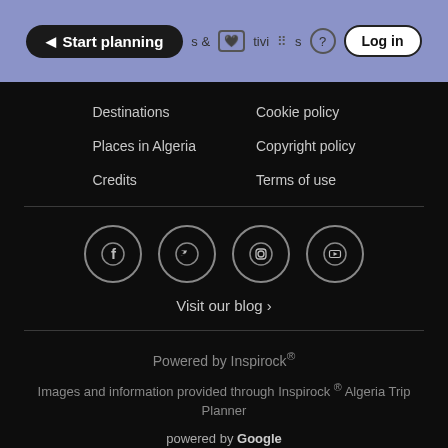[Figure (screenshot): Navigation header bar with search pill showing 'Start planning', icons for saved places and activities, help icon, and Log in button]
Destinations
Cookie policy
Places in Algeria
Copyright policy
Credits
Terms of use
[Figure (infographic): Social media icons in circles: Facebook, Twitter, Instagram, YouTube]
Visit our blog ›
Powered by Inspirock®
Images and information provided through Inspirock ® Algeria Trip Planner
powered by Google